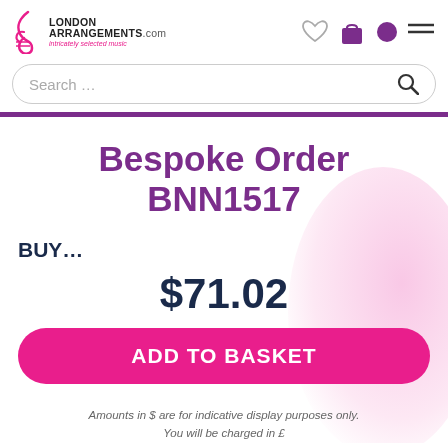London Arrangements.com — intricately selected music
Bespoke Order BNN1517
BUY...
$71.02
ADD TO BASKET
Amounts in $ are for indicative display purposes only. You will be charged in £